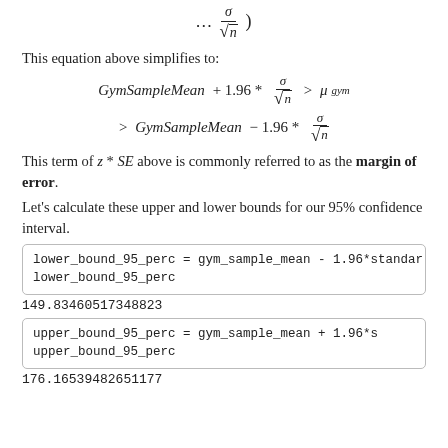This equation above simplifies to:
This term of z * SE above is commonly referred to as the margin of error.
Let's calculate these upper and lower bounds for our 95% confidence interval.
lower_bound_95_perc = gym_sample_mean - 1.96*standar
lower_bound_95_perc
149.83460517348823
upper_bound_95_perc = gym_sample_mean + 1.96*s
upper_bound_95_perc
176.16539482651177